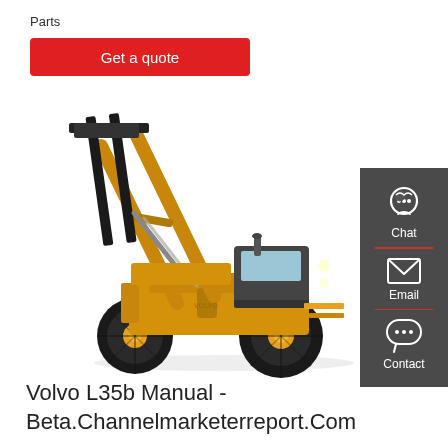Parts
Get a quote
[Figure (photo): Yellow Volvo L35b wheel loader with extended fork attachment raised high, shown on white background]
[Figure (infographic): Dark grey sidebar with Chat (headset icon), Email (envelope icon), and Contact (speech bubble icon) buttons with red dividers]
Volvo L35b Manual - Beta.Channelmarketerreport.Com